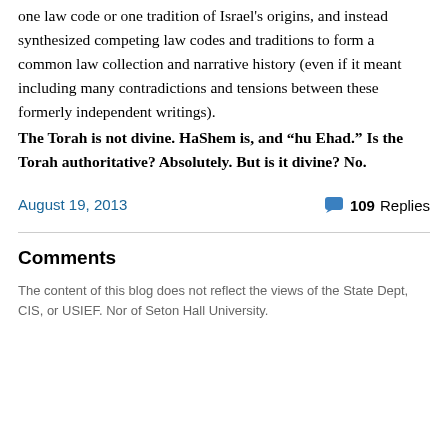one law code or one tradition of Israel's origins, and instead synthesized competing law codes and traditions to form a common law collection and narrative history (even if it meant including many contradictions and tensions between these formerly independent writings).
The Torah is not divine. HaShem is, and “hu Ehad.” Is the Torah authoritative? Absolutely. But is it divine? No.
August 19, 2013
109 Replies
Comments
The content of this blog does not reflect the views of the State Dept, CIS, or USIEF. Nor of Seton Hall University.